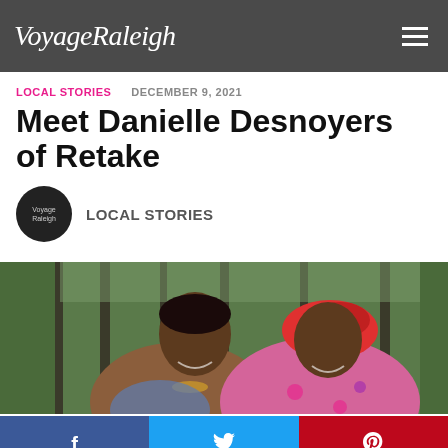VoyageRaleigh
LOCAL STORIES   DECEMBER 9, 2021
Meet Danielle Desnoyers of Retake
LOCAL STORIES
[Figure (photo): Two women laughing together outdoors in front of trees; one wearing a colorful headwrap and floral blouse]
Facebook share button, Twitter share button, Pinterest share button